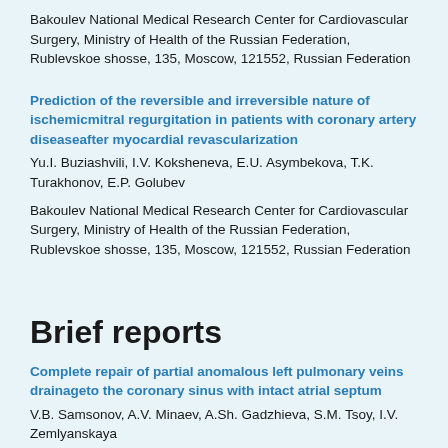Bakoulev National Medical Research Center for Cardiovascular Surgery, Ministry of Health of the Russian Federation, Rublevskoe shosse, 135, Moscow, 121552, Russian Federation
Prediction of the reversible and irreversible nature of ischemicmitral regurgitation in patients with coronary artery diseaseafter myocardial revascularization
Yu.I. Buziashvili, I.V. Koksheneva, E.U. Asymbekova, T.K. Turakhonov, E.P. Golubev
Bakoulev National Medical Research Center for Cardiovascular Surgery, Ministry of Health of the Russian Federation, Rublevskoe shosse, 135, Moscow, 121552, Russian Federation
Brief reports
Complete repair of partial anomalous left pulmonary veins drainageto the coronary sinus with intact atrial septum
V.B. Samsonov, A.V. Minaev, A.Sh. Gadzhieva, S.M. Tsoy, I.V. Zemlyanskaya